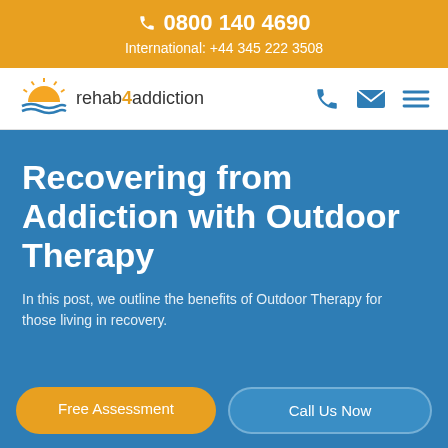☎ 0800 140 4690
International: +44 345 222 3508
[Figure (logo): rehab4addiction logo with sunrise/sunset icon]
Recovering from Addiction with Outdoor Therapy
In this post, we outline the benefits of Outdoor Therapy for those living in recovery.
Free Assessment
Call Us Now